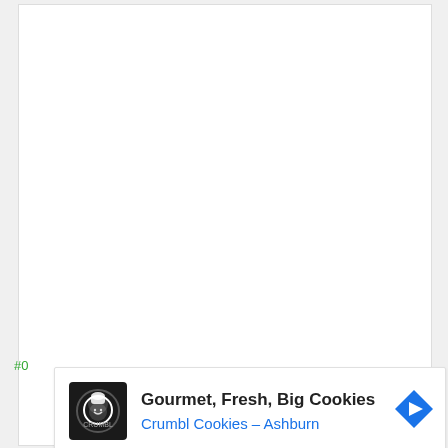#0
[Figure (other): Advertisement banner for Crumbl Cookies - Ashburn. Shows a logo of a cookie chef character on dark background, bold text 'Gourmet, Fresh, Big Cookies', subtitle 'Crumbl Cookies - Ashburn' in blue, a blue diamond-shaped navigation arrow icon, and ad controls (play and close icons) at the bottom.]